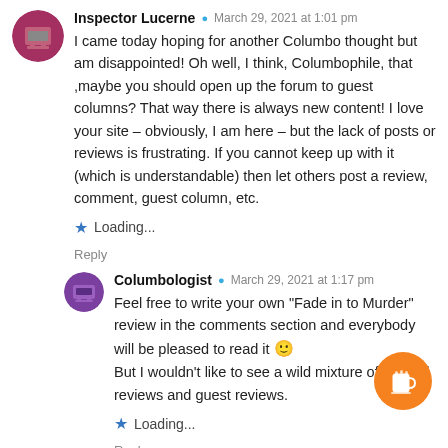Inspector Lucerne · March 29, 2021 at 1:01 pm — I came today hoping for another Columbo thought but am disappointed! Oh well, I think, Columbophile, that ,maybe you should open up the forum to guest columns? That way there is always new content! I love your site – obviously, I am here – but the lack of posts or reviews is frustrating. If you cannot keep up with it (which is understandable) then let others post a review, comment, guest column, etc.
★ Loading...
Reply
Columbologist · March 29, 2021 at 1:17 pm — Feel free to write your own "Fade in to Murder" review in the comments section and everybody will be pleased to read it 🙂 But I wouldn't like to see a wild mixture of original reviews and guest reviews.
★ Loading...
Reply
Inspector Lucerne · March 29, 2021 at 5:12 pm